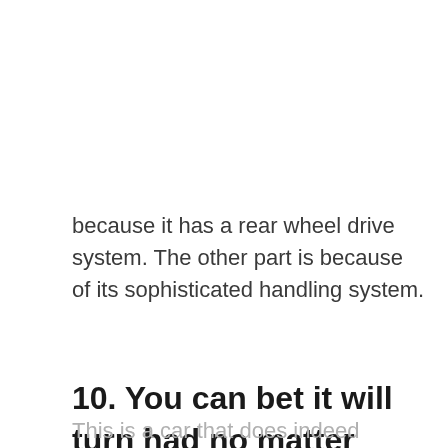because it has a rear wheel drive system. The other part is because of its sophisticated handling system.
10. You can bet it will turn had no matter where you go
This is a car that does indeed perform as